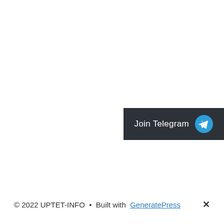[Figure (other): Join Telegram button — dark background with white text 'Join Telegram' and a blue circular Telegram paper-plane icon on the right, positioned at mid-right of the page]
© 2022 UPTET-INFO • Built with GeneratePress  ✕